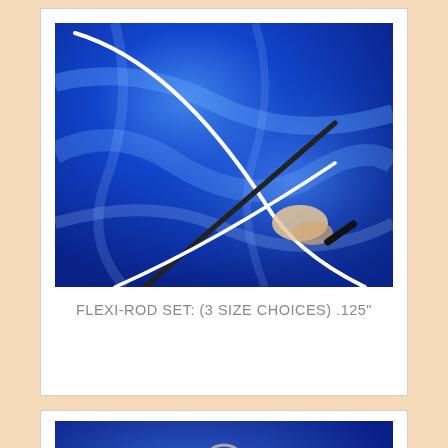[Figure (photo): Photo of a hand holding flexible rods/wires crossed in an X shape against a blue satin fabric background. One white curved rod and a dark straight rod are visible.]
FLEXI-ROD SET: (3 SIZE CHOICES) .125"
[Figure (photo): Photo of an amber/orange colored fishing lure or similar product with a metal ring at the top and red wrapping, photographed against a blue satin fabric background.]